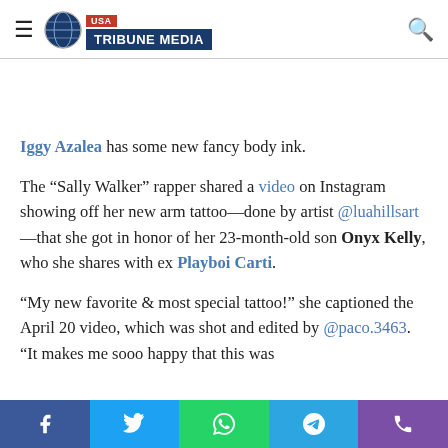USA Tribune Media
Iggy Azalea has some new fancy body ink.
The “Sally Walker” rapper shared a video on Instagram showing off her new arm tattoo—done by artist @luahillsart—that she got in honor of her 23-month-old son Onyx Kelly, who she shares with ex Playboi Carti.
“My new favorite & most special tattoo!” she captioned the April 20 video, which was shot and edited by @paco.3463. “It makes me sooo happy that this was